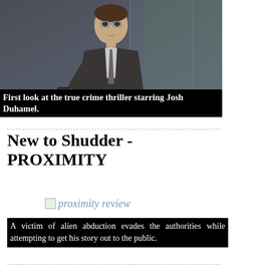[Figure (photo): Man in suit talking on a phone, appears to be in a glass booth or office setting. Dark moody styling consistent with a crime thriller.]
First look at the true crime thriller starring Josh Duhamel.
New to Shudder - PROXIMITY
[Figure (photo): proximity review image placeholder]
A victim of alien abduction evades the authorities while attempting to get his story out to the public.